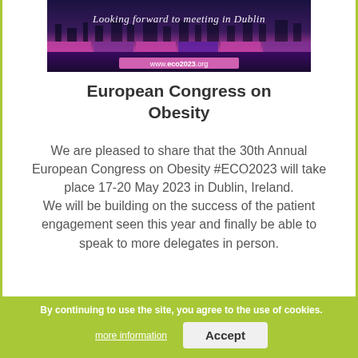[Figure (photo): Banner image showing Dublin cityscape at night with purple/pink lighting and text 'Looking forward to meeting in Dublin' in cursive script. URL www.eco2023.org shown at the bottom of the banner.]
European Congress on Obesity
We are pleased to share that the 30th Annual European Congress on Obesity #ECO2023 will take place 17-20 May 2023 in Dublin, Ireland.
We will be building on the success of the patient engagement seen this year and finally be able to speak to more delegates in person.